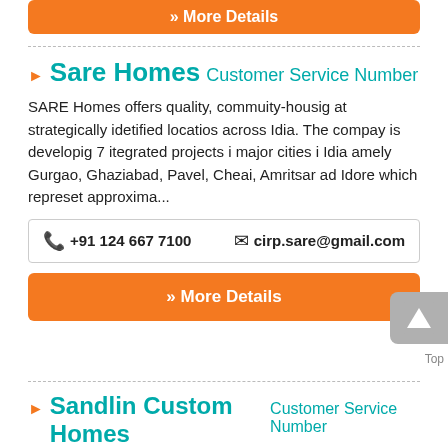» More Details
▶ Sare Homes Customer Service Number
SARE Homes offers quality, commuity-housig at strategically idetified locatios across Idia. The compay is developig 7 itegrated projects i major cities i Idia amely Gurgao, Ghaziabad, Pavel, Cheai, Amritsar ad Idore which represet approxima...
📞 +91 124 667 7100    ✉ cirp.sare@gmail.com
» More Details
▶ Sandlin Custom Homes Customer Service Number
Welcome to Sadli Homes. For more tha six decades i the Dallas-Fort Worth metroplex, our family-owed ad operated